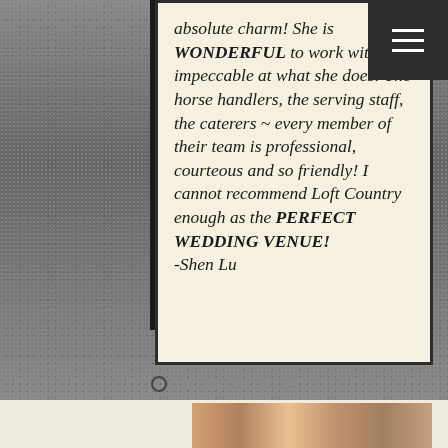[Figure (screenshot): Mobile website screenshot showing a wedding venue testimonial. The top portion features a review card with italicized text on a cream background overlaid on a gravel outdoor photo. A dark hamburger menu icon appears in the top right. Navigation dots appear at the bottom of the slider. Below is a photo of a smiling couple (bride and groom) in front of wooden planks.]
absolute charm! She is WONDERFUL to work with and impeccable at what she does! The horse handlers, the serving staff, the caterers ~ every member of their team is professional, courteous and so friendly! I cannot recommend Loft Country enough as the PERFECT WEDDING VENUE! -Shen Lu